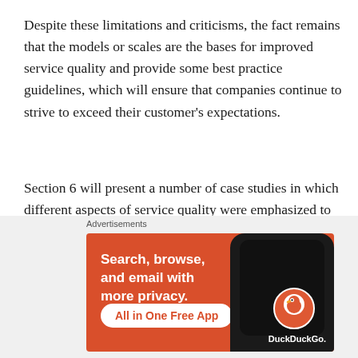Despite these limitations and criticisms, the fact remains that the models or scales are the bases for improved service quality and provide some best practice guidelines, which will ensure that companies continue to strive to exceed their customer's expectations.
Section 6 will present a number of case studies in which different aspects of service quality were emphasized to meet and hopefully exceed expectations.
6 Case Studies: Fast Food Service Quality
[Figure (other): DuckDuckGo advertisement banner: 'Search, browse, and email with more privacy. All in One Free App' with phone image showing DuckDuckGo logo]